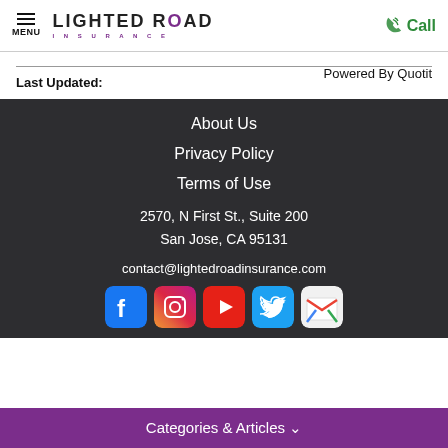MENU | LIGHTED ROAD INSURANCE | Call
Powered By Quotit
Last Updated:
About Us
Privacy Policy
Terms of Use
2570, N First St., Suite 200
San Jose, CA 95131
contact@lightedroadinsurance.com
[Figure (infographic): Social media icons: Facebook, Instagram, YouTube, Twitter, Gmail]
Categories & Articles ∨